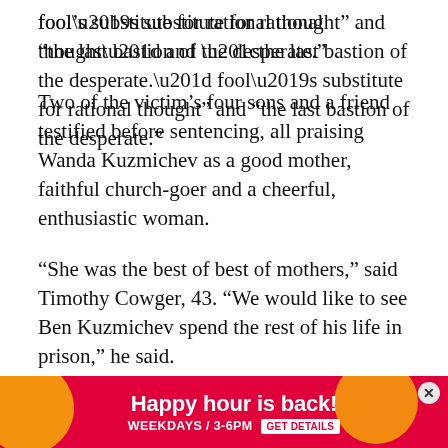fool’s substitute for rational thought” and “the last bastion of the desperate.”
Two of the victim’s four sons and a friend testified before sentencing, all praising Wanda Kuzmichev as a good mother, faithful church-goer and a cheerful, enthusiastic woman.
“She was the best of best of mothers,” said Timothy Cowger, 43. “We would like to see Ben Kuzmichev spend the rest of his life in prison,” he said.
Mary Kolsky, the victim’s sister-in-law, called the slaying “a planned violent action with no remorse by someone we welcomed into our house.”
“The p[artially visible text] Wanda. is gone[partially visible]
[Figure (infographic): Red advertisement banner at the bottom of the page. Text reads 'Happy hour is back! WEEKDAYS / 3-6PM GET DETAILS'. Orange circular decorative elements on left and right. White close (X) button on right side.]